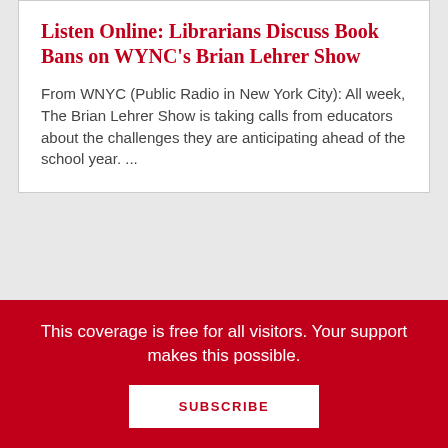Listen Online: Librarians Discuss Book Bans on WYNC's Brian Lehrer Show
From WNYC (Public Radio in New York City): All week, The Brian Lehrer Show is taking calls from educators about the challenges they are anticipating ahead of the school year. ...
White House Office of Science and Technology Policy (OSTP) Issues New Guidance to Ensure "Free, Immediate, and
This coverage is free for all visitors. Your support makes this possible.
SUBSCRIBE